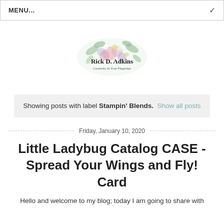MENU...
[Figure (logo): Rick D. Adkins blog logo with watercolor floral arrangement and text 'Rick D. Adkins - Creativity At Your Fingertips']
Showing posts with label Stampin' Blends. Show all posts
Friday, January 10, 2020
Little Ladybug Catalog CASE - Spread Your Wings and Fly! Card
Hello and welcome to my blog; today I am going to share with